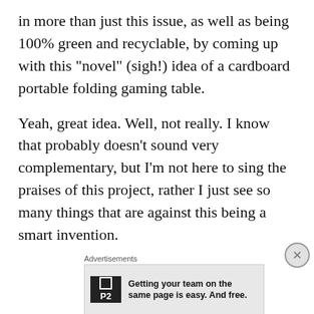in more than just this issue, as well as being 100% green and recyclable, by coming up with this “novel” (sigh!) idea of a cardboard portable folding gaming table.
Yeah, great idea. Well, not really. I know that probably doesn't sound very complementary, but I’m not here to sing the praises of this project, rather I just see so many things that are against this being a smart invention.
[Figure (screenshot): Advertisement: P2 logo with text 'Getting your team on the same page is easy. And free.']
I'll try and be fair with this project though, I’m not all bad, so I'll point out lots going for it, such as the fact that it's
[Figure (screenshot): Advertisement: MAC cosmetics showing lipsticks and 'SHOP NOW' button]